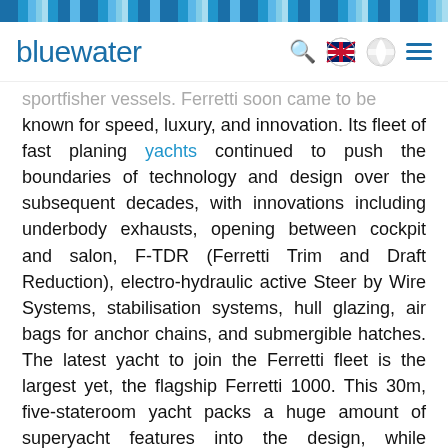bluewater
sportfisher vessels. Ferretti soon came to be known for speed, luxury, and innovation. Its fleet of fast planing yachts continued to push the boundaries of technology and design over the subsequent decades, with innovations including underbody exhausts, opening between cockpit and salon, F-TDR (Ferretti Trim and Draft Reduction), electro-hydraulic active Steer by Wire Systems, stabilisation systems, hull glazing, air bags for anchor chains, and submergible hatches. The latest yacht to join the Ferretti fleet is the largest yet, the flagship Ferretti 1000. This 30m, five-stateroom yacht packs a huge amount of superyacht features into the design, while remaining lightweight and